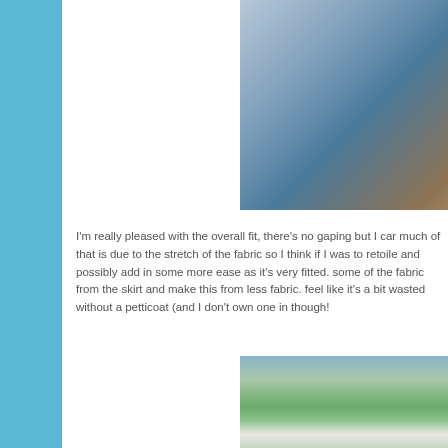[Figure (photo): Fabric/clothing close-up photo in upper right portion of page]
I'm really pleased with the overall fit, there's no gaping but I can much of that is due to the stretch of the fabric so I think if I was to retoile and possibly add in some more ease as it's very fitted. some of the fabric from the skirt and make this from less fabric. feel like it's a bit wasted without a petticoat (and I don't own one in though!
[Figure (photo): Woman standing outdoors on a golf course or green landscape, wearing a floral dress]